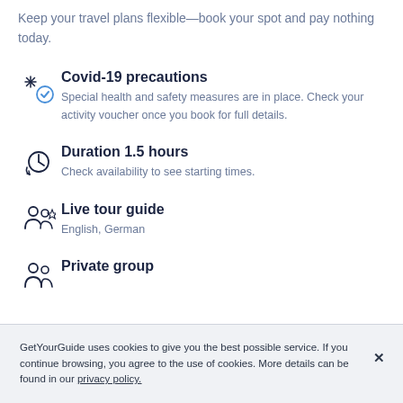Keep your travel plans flexible—book your spot and pay nothing today.
Covid-19 precautions
Special health and safety measures are in place. Check your activity voucher once you book for full details.
Duration 1.5 hours
Check availability to see starting times.
Live tour guide
English, German
Private group
GetYourGuide uses cookies to give you the best possible service. If you continue browsing, you agree to the use of cookies. More details can be found in our privacy policy.